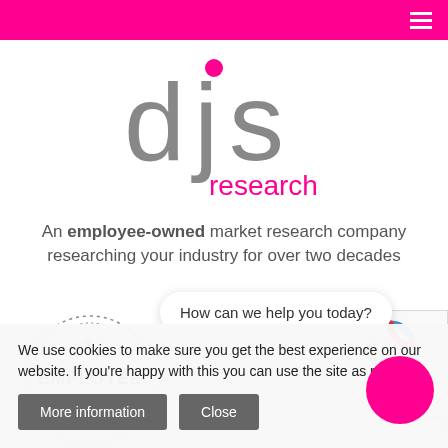Navigation bar with hamburger menu
[Figure (logo): DJS Research logo — lowercase 'djs' in grey with a pink dot over the 'j', and 'research' in pink below]
An employee-owned market research company researching your industry for over two decades
[Figure (illustration): Circular stamp badge reading 'Proud to be EMPLOYEE OWNED' with dotted border]
[Figure (other): Google reCAPTCHA widget (partially visible) with Privacy and Terms links]
How can we help you today?
We use cookies to make sure you get the best experience on our website. If you're happy with this you can use the site as normal.
More information   Close